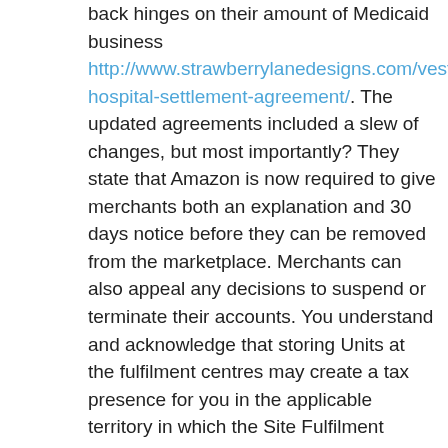back hinges on their amount of Medicaid business http://www.strawberrylanedesigns.com/vestedhealth/ct-hospital-settlement-agreement/. The updated agreements included a slew of changes, but most importantly? They state that Amazon is now required to give merchants both an explanation and 30 days notice before they can be removed from the marketplace. Merchants can also appeal any decisions to suspend or terminate their accounts. You understand and acknowledge that storing Units at the fulfilment centres may create a tax presence for you in the applicable territory in which the Site Fulfilment Centre is located, and you will be solely responsible for any taxes owed as a result of such storage. If any Foreign Shipment Taxes or